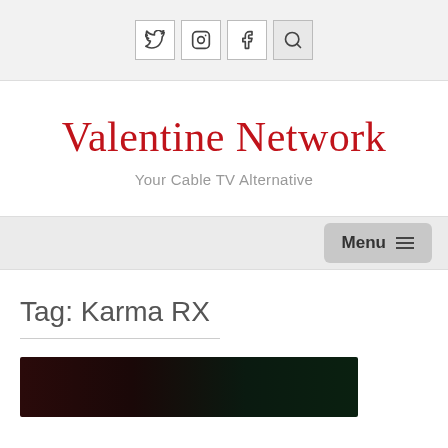Social icons: Twitter, Instagram, Facebook, Search
Valentine Network
Your Cable TV Alternative
Menu
Tag: Karma RX
[Figure (photo): Dark thumbnail image strip at bottom of page]